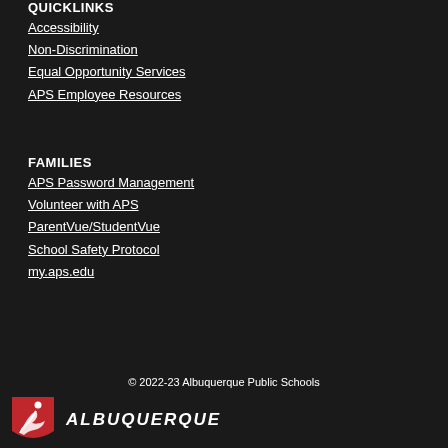QUICKLINKS
Accessibility
Non-Discrimination
Equal Opportunity Services
APS Employee Resources
FAMILIES
APS Password Management
Volunteer with APS
ParentVue/StudentVue
School Safety Protocol
my.aps.edu
© 2022-23 Albuquerque Public Schools
[Figure (logo): Albuquerque Public Schools logo with red shield icon and 'ALBUQUERQUE' text]